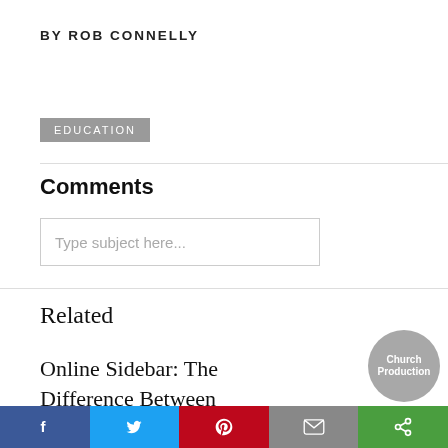BY ROB CONNELLY
EDUCATION
Comments
Type subject here...
Related
Online Sidebar: The Difference Between
[Figure (logo): Church Production circular logo in gray]